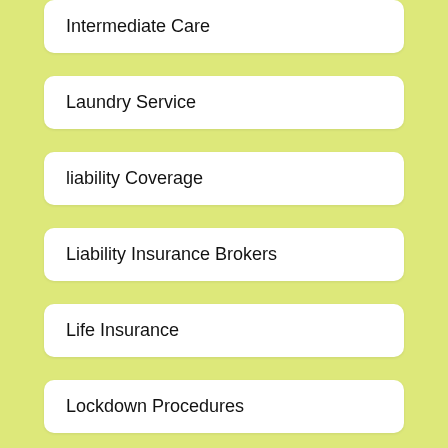Intermediate Care
Laundry Service
liability Coverage
Liability Insurance Brokers
Life Insurance
Lockdown Procedures
Malpractice Insurance
Marine Repair Insurance